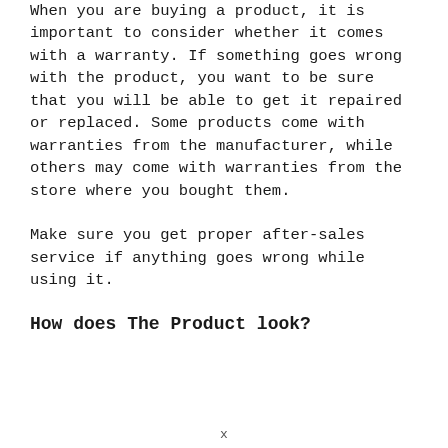When you are buying a product, it is important to consider whether it comes with a warranty. If something goes wrong with the product, you want to be sure that you will be able to get it repaired or replaced. Some products come with warranties from the manufacturer, while others may come with warranties from the store where you bought them.
Make sure you get proper after-sales service if anything goes wrong while using it.
How does The Product look?
x